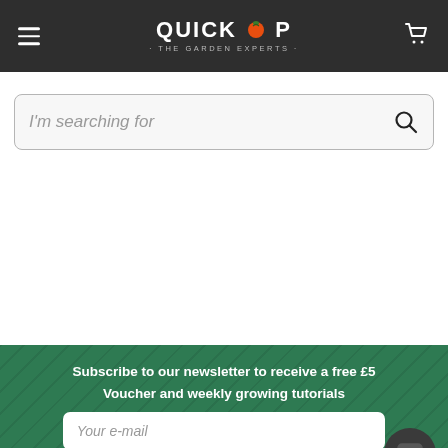QUICKCROP · THE GARDEN EXPERTS ·
I'm searching for
Subscribe to our newsletter to receive a free £5 Voucher and weekly growing tutorials
Your e-mail